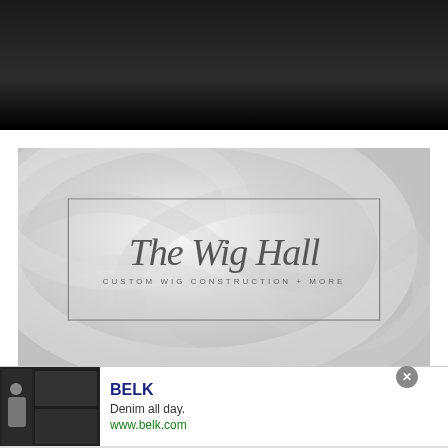[Figure (screenshot): Dark gradient header bar at top of webpage screenshot]
[Figure (logo): The Wig Hall logo with cursive script text and subtitle 'CUSTOM WIG CONSTRUCTION + MORE' on silky grey fabric background with dashed border rectangle]
[Figure (infographic): Advertisement banner for Belk featuring fashion photo, brand name in navy bold text, tagline 'Denim all day.', URL www.belk.com, close button, and blue arrow navigation button]